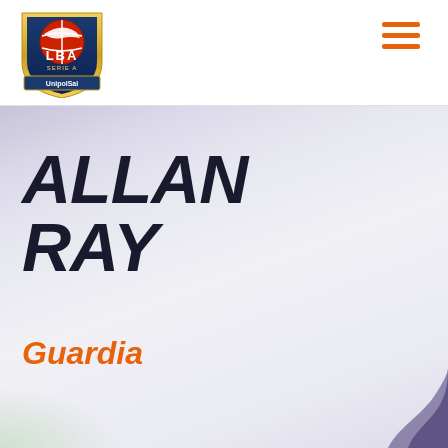[Figure (logo): LBA Serie A UnipolSai basketball league logo — shield shape with red/gold basketball graphic]
ALLAN RAY
Guardia